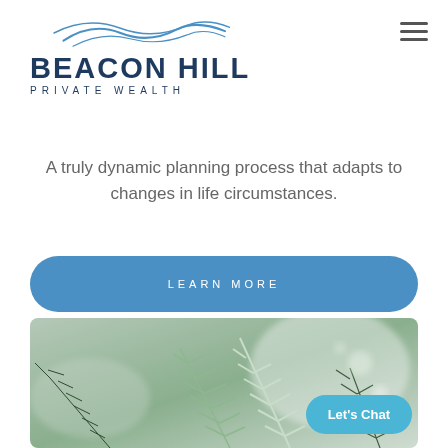[Figure (logo): Beacon Hill Private Wealth logo with decorative wave lines above the text]
A truly dynamic planning process that adapts to changes in life circumstances.
LEARN MORE
[Figure (photo): Close-up photograph of green fern leaves in misty, soft-focus background]
Let's Chat